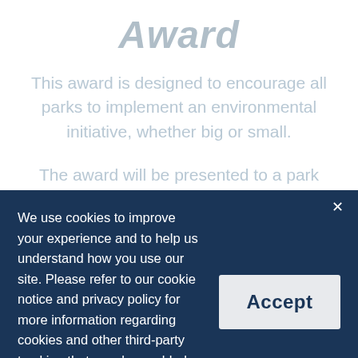Award
This award is designed to encourage all parks to implement an environmental initiative, whether big or small.
The award will be presented to a park
We use cookies to improve your experience and to help us understand how you use our site. Please refer to our cookie notice and privacy policy for more information regarding cookies and other third-party tracking that may be enabled.
Accept